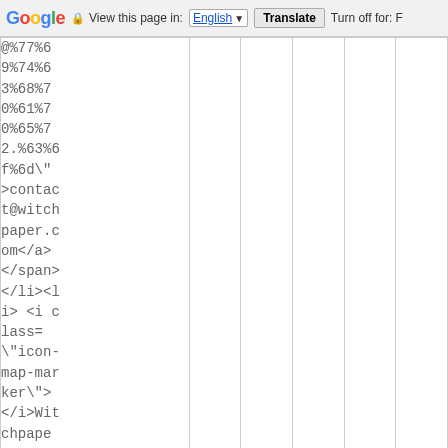Google  View this page in: English [▼]  Translate  Turn off for: F
@%77%69%74%63%68%70%61%70%65%72.%63%6f%6d\" >contact@witchpaper.com</a></span></li><li> <i class=\"icon-map-marker\"></i>Witchpaper, 11 rue basse, 59000 Lille